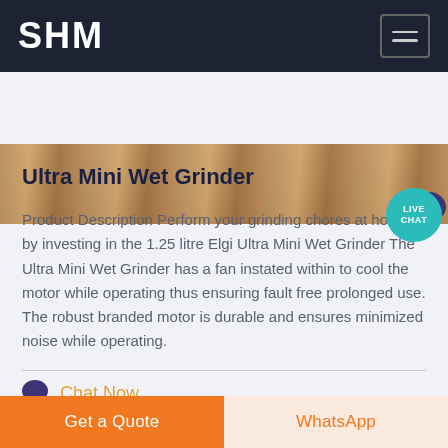SHM
[Figure (photo): Partial product image strip showing a wooden or stone textured surface]
Ultra Mini Wet Grinder
Product Description Perform your grinding chores at home by investing in the 1.25 litre Elgi Ultra Mini Wet Grinder The Ultra Mini Wet Grinder has a fan instated within to cool the motor while operating thus ensuring fault free prolonged use. The robust branded motor is durable and ensures minimized noise while operating.
Chat Now